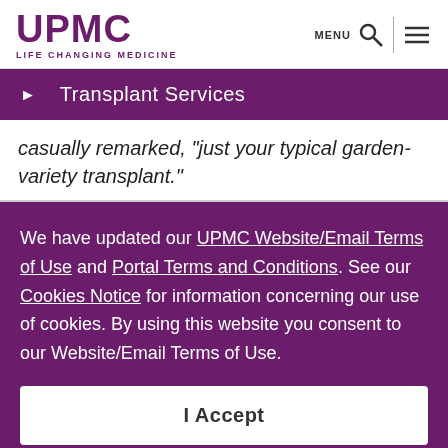UPMC LIFE CHANGING MEDICINE
Transplant Services
casually remarked, "just your typical garden-variety transplant."
We have updated our UPMC Website/Email Terms of Use and Portal Terms and Conditions. See our Cookies Notice for information concerning our use of cookies. By using this website you consent to our Website/Email Terms of Use.
I Accept